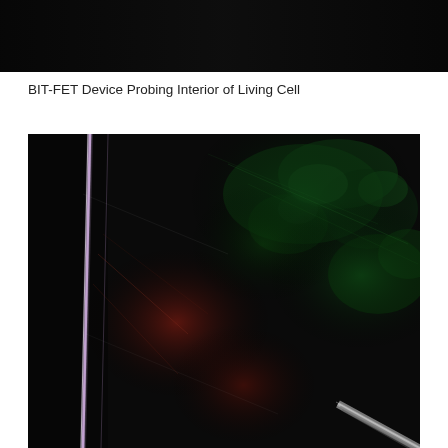[Figure (photo): Top portion of a microscopy image showing a dark background, partially visible upper section of a BIT-FET device probing a living cell.]
BIT-FET Device Probing Interior of Living Cell
[Figure (photo): Fluorescence microscopy image showing a BIT-FET nanowire device (bright white/purple diagonal line on left) probing the interior of a living cell against a dark background with green and red fluorescent signals indicating cell structures. A metallic probe tip is visible in the lower right.]